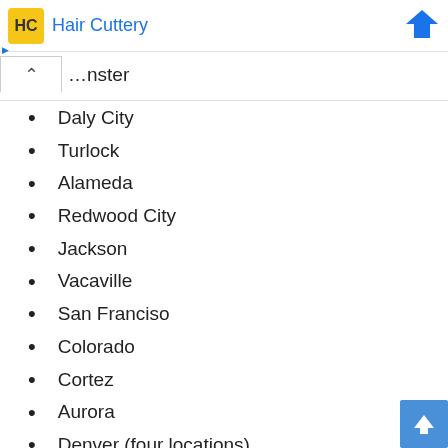Hair Cuttery
Daly City
Turlock
Alameda
Redwood City
Jackson
Vacaville
San Franciso
Colorado
Cortez
Aurora
Denver (four locations)
Colorado Springs
Fountain